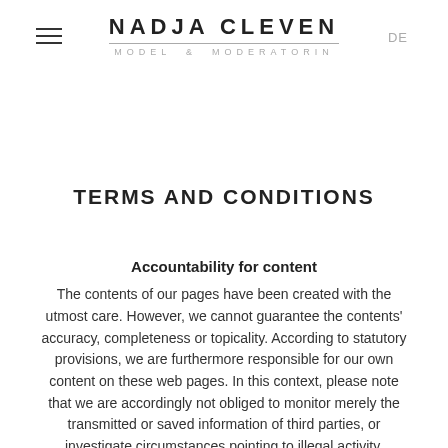NADJA CLEVEN MODEL & MODERATORIN
TERMS AND CONDITIONS
Accountability for content
The contents of our pages have been created with the utmost care. However, we cannot guarantee the contents' accuracy, completeness or topicality. According to statutory provisions, we are furthermore responsible for our own content on these web pages. In this context, please note that we are accordingly not obliged to monitor merely the transmitted or saved information of third parties, or investigate circumstances pointing to illegal activity.